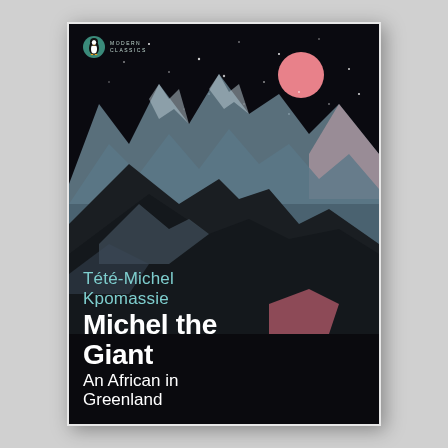[Figure (illustration): Penguin Modern Classics book cover for 'Michel the Giant: An African in Greenland' by Tété-Michel Kpomassie. Dark night sky with stars and a pink/red full moon in the upper right. Dramatic mountain peaks rendered in blue-grey and dark tones fill the middle section. At the bottom left, the author name 'Tété-Michel Kpomassie' appears in teal/cyan, followed by the title 'Michel the Giant' in large bold white text, and subtitle 'An African in Greenland' in smaller white text. The Penguin Modern Classics logo (penguin in a teal circle with 'MODERN CLASSICS' text) appears in the upper left corner.]